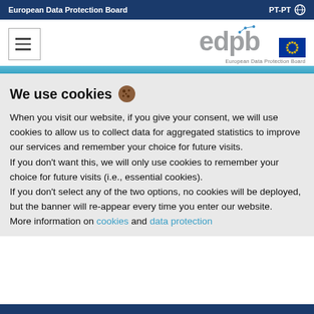European Data Protection Board | PT-PT
[Figure (logo): Hamburger menu icon and EDPB logo with EU flag]
We use cookies 🍪
When you visit our website, if you give your consent, we will use cookies to allow us to collect data for aggregated statistics to improve our services and remember your choice for future visits.
If you don't want this, we will only use cookies to remember your choice for future visits (i.e., essential cookies).
If you don't select any of the two options, no cookies will be deployed, but the banner will re-appear every time you enter our website.
More information on cookies and data protection